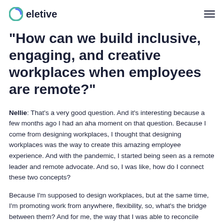eletive
"How can we build inclusive, engaging, and creative workplaces when employees are remote?"
Nellie: That's a very good question. And it's interesting because a few months ago I had an aha moment on that question. Because I come from designing workplaces, I thought that designing workplaces was the way to create this amazing employee experience. And with the pandemic, I started being seen as a remote leader and remote advocate. And so, I was like, how do I connect these two concepts?
Because I'm supposed to design workplaces, but at the same time, I'm promoting work from anywhere, flexibility, so, what's the bridge between them? And for me, the way that I was able to reconcile these two ideas, is that I don't think that the future